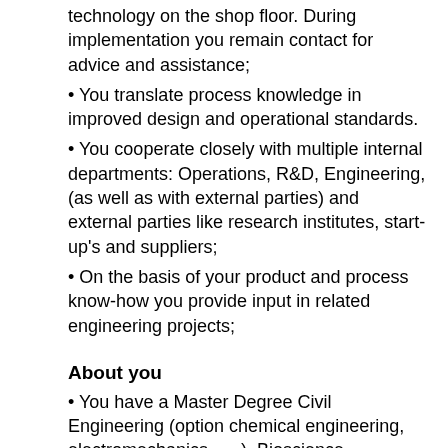technology on the shop floor. During implementation you remain contact for advice and assistance;
You translate process knowledge in improved design and operational standards.
You cooperate closely with multiple internal departments: Operations, R&D, Engineering, (as well as with external parties) and external parties like research institutes, start-up's and suppliers;
On the basis of your product and process know-how you provide input in related engineering projects;
About you
You have a Master Degree Civil Engineering (option chemical engineering, electromechanics, … ), Bioscience-engineering, Chemistry or Physics with a first professional experience (3-5 years) in chocolate and cocoa production;